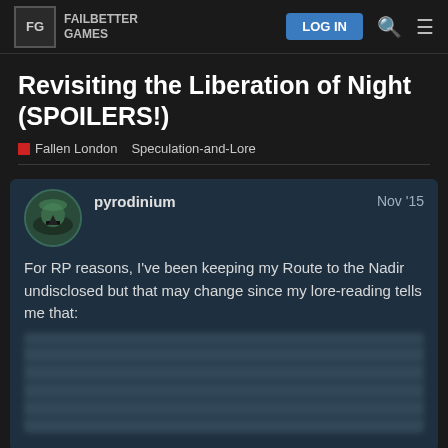Failbetter Games forum header with logo, login button, search and menu icons
Revisiting the Liberation of Night (SPOILERS!)
Fallen London   Speculation-and-Lore
pyrodinium  Nov '15
For RP reasons, I've been keeping my Route to the Nadir undisclosed but that may change since my lore-reading tells me that:
[Figure (other): Blurred/redacted spoiler text block]
So delicious friends, is it a good idea to sic Revolutionary friends now or is there a fou